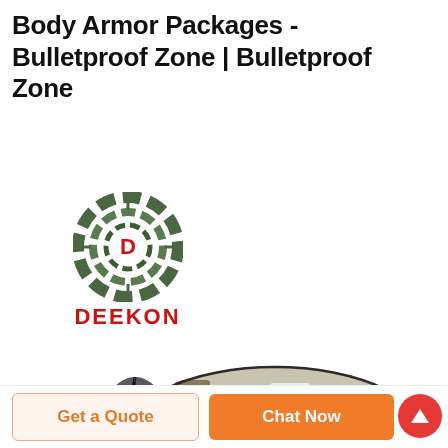Body Armor Packages - Bulletproof Zone | Bulletproof Zone
[Figure (logo): DEEKON brand logo: circular target/crosshair icon in military green camouflage colors with a red letter D in the center, and bold red text 'DEEKON' below]
[Figure (photo): A camouflage military sleeping bag or rolled-up bag in digital camo pattern (green, tan, brown, white), partially open showing gray interior lining, photographed on a white background]
Get a Quote
Chat Now